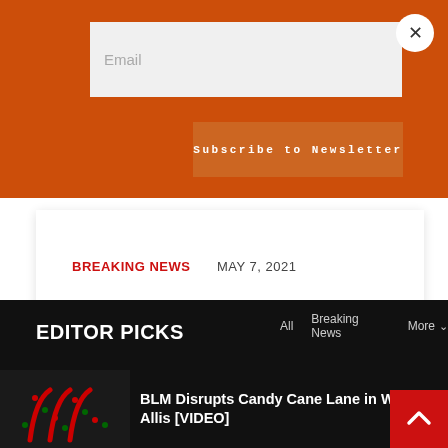[Figure (screenshot): Orange newsletter subscription banner with email input field and Subscribe to Newsletter button, and a close X button in top right corner]
BREAKING NEWS    MAY 7, 2021
[Figure (screenshot): Pagination controls showing buttons: 1 (active, red), 2, > (next arrow)]
EDITOR PICKS
All    Breaking News    More
BLM Disrupts Candy Cane Lane in West Allis [VIDEO]